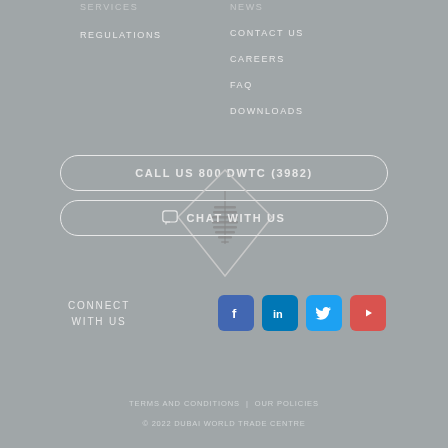SERVICES
NEWS
REGULATIONS
CONTACT US
CAREERS
FAQ
DOWNLOADS
CALL US 800 DWTC (3982)
[Figure (logo): DWTC diamond-shaped logo with helical tower illustration]
CHAT WITH US
CONNECT WITH US
[Figure (infographic): Social media icons: Facebook, LinkedIn, Twitter, YouTube]
TERMS AND CONDITIONS | OUR POLICIES
© 2022 DUBAI WORLD TRADE CENTRE